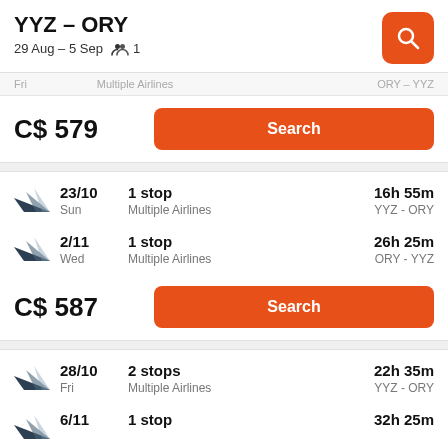YYZ – ORY
29 Aug – 5 Sep   👥 1
C$ 579
Search
23/10 Sun | 1 stop | Multiple Airlines | 16h 55m | YYZ - ORY
2/11 Wed | 1 stop | Multiple Airlines | 26h 25m | ORY - YYZ
C$ 587
Search
28/10 Fri | 2 stops | Multiple Airlines | 22h 35m | YYZ - ORY
6/11 | 1 stop | 32h 25m